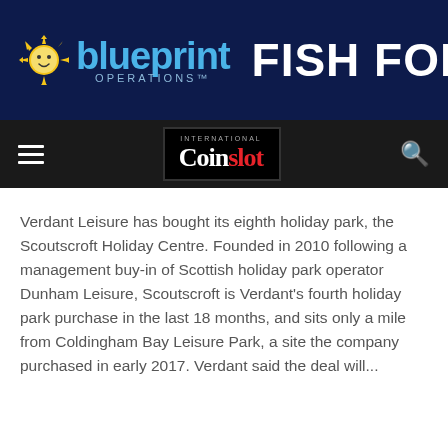[Figure (logo): Blueprint Operations logo on dark navy banner with 'FISH FOR' text on the right]
[Figure (logo): International Coinslot navigation bar with hamburger menu and search icon on dark background]
Verdant Leisure has bought its eighth holiday park, the Scoutscroft Holiday Centre. Founded in 2010 following a management buy-in of Scottish holiday park operator Dunham Leisure, Scoutscroft is Verdant's fourth holiday park purchase in the last 18 months, and sits only a mile from Coldingham Bay Leisure Park, a site the company purchased in early 2017. Verdant said the deal will...
Read more